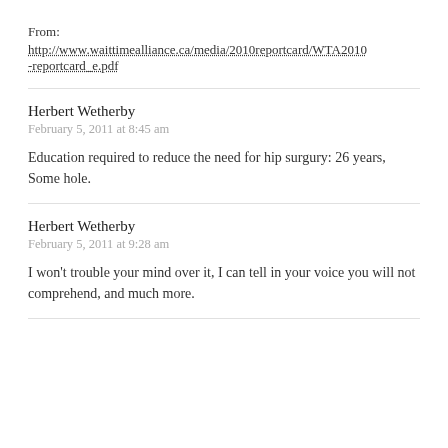From:
http://www.waittimealliance.ca/media/2010reportcard/WTA2010-reportcard_e.pdf
Herbert Wetherby
February 5, 2011 at 8:45 am
Education required to reduce the need for hip surgury: 26 years, Some hole.
Herbert Wetherby
February 5, 2011 at 9:28 am
I won't trouble your mind over it, I can tell in your voice you will not comprehend, and much more.